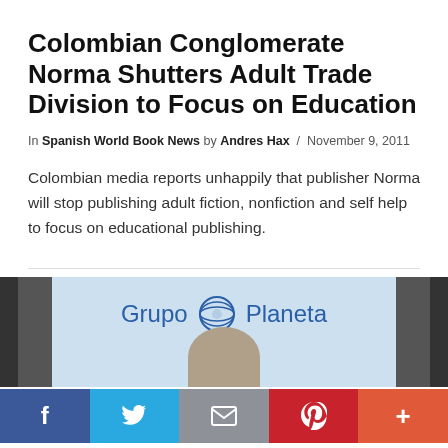Colombian Conglomerate Norma Shutters Adult Trade Division to Focus on Education
In Spanish World Book News by Andres Hax / November 9, 2011
Colombian media reports unhappily that publisher Norma will stop publishing adult fiction, nonfiction and self help to focus on educational publishing.
[Figure (photo): Grupo Planeta banner with a person's head visible at the bottom, flanked by dark side panels]
f  Twitter bird  Email envelope  Pinterest P  +